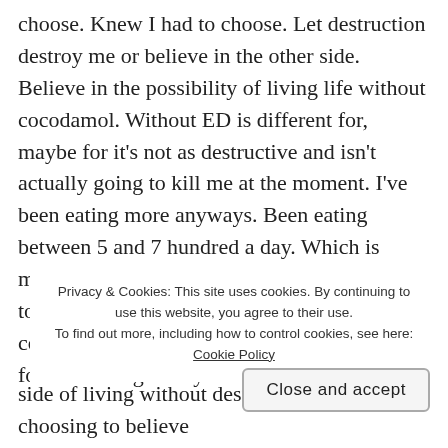choose. Knew I had to choose. Let destruction destroy me or believe in the other side. Believe in the possibility of living life without cocodamol. Without ED is different for, maybe for it's not as destructive and isn't actually going to kill me at the moment. I've been eating more anyways. Been eating between 5 and 7 hundred a day. Which is more than between 3 and 450. Using more too. If I'm lucky it's about x a day. Not really counting. Though today I'll keep the wrappers for I want to give my GP a number
Privacy & Cookies: This site uses cookies. By continuing to use this website, you agree to their use. To find out more, including how to control cookies, see here: Cookie Policy
Close and accept
side of living without destruction. I'm choosing to believe